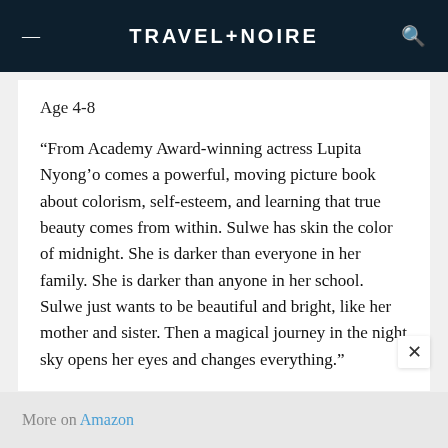TRAVEL + NOIRE
Age 4-8
“From Academy Award-winning actress Lupita Nyong’o comes a powerful, moving picture book about colorism, self-esteem, and learning that true beauty comes from within. Sulwe has skin the color of midnight. She is darker than everyone in her family. She is darker than anyone in her school. Sulwe just wants to be beautiful and bright, like her mother and sister. Then a magical journey in the night sky opens her eyes and changes everything.”
More on Amazon